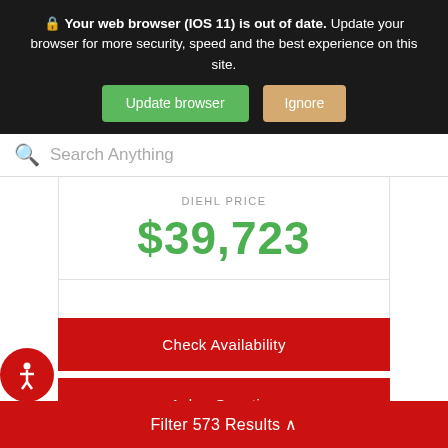Your web browser (IOS 11) is out of date. Update your browser for more security, speed and the best experience on this site.
Update browser
Ignore
Search Anything
DIEHL PRICE
$39,723
Check Availability
Ask a Question
Filter 573 Results